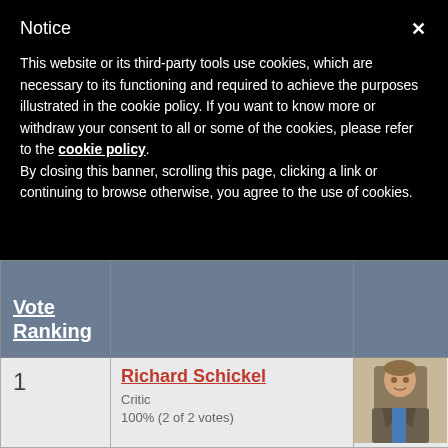Notice
This website or its third-party tools use cookies, which are necessary to its functioning and required to achieve the purposes illustrated in the cookie policy. If you want to know more or withdraw your consent to all or some of the cookies, please refer to the cookie policy.
By closing this banner, scrolling this page, clicking a link or continuing to browse otherwise, you agree to the use of cookies.
| Vote Ranking |  |  |
| --- | --- | --- |
| 1 | Richard Schickel
Critic
100% (2 of 2 votes) | [photo] |
| 2 | Peter Fonda | [photo] |